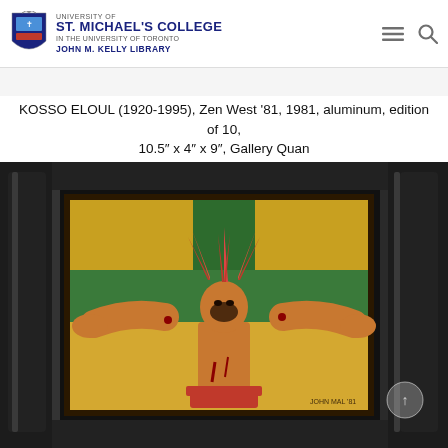UNIVERSITY OF ST. MICHAEL'S COLLEGE IN THE UNIVERSITY OF TORONTO JOHN M. KELLY LIBRARY
KOSSO ELOUL (1920-1995), Zen West ’81, 1981, aluminum, edition of 10, 10.5″ x 4″ x 9″, Gallery Quan
[Figure (photo): Photograph of a sculptural artwork displayed in a dark frame on a pedestal. The artwork depicts a figure with outstretched arms on a cross, wearing a red feathered headdress and a red garment, painted in warm golden tones against a green and gold background. Signed 'JOHN HAL '81' in the lower right corner.]